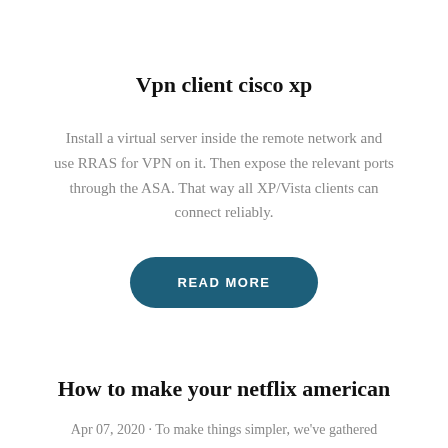Vpn client cisco xp
Install a virtual server inside the remote network and use RRAS for VPN on it. Then expose the relevant ports through the ASA. That way all XP/Vista clients can connect reliably.
READ MORE
How to make your netflix american
Apr 07, 2020 · To make things simpler, we've gathered